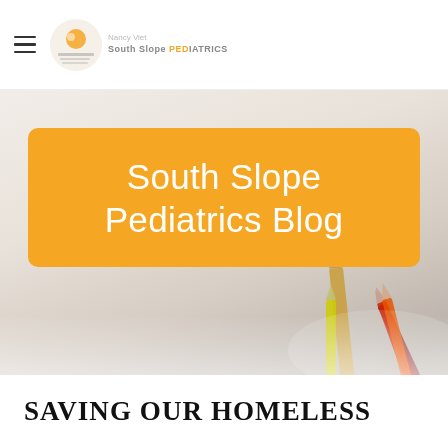South Slope Pediatrics
[Figure (photo): Background photo of colored pencils arranged on a white surface, blurred in the foreground]
South Slope Pediatrics Blog
SAVING OUR HOMELESS